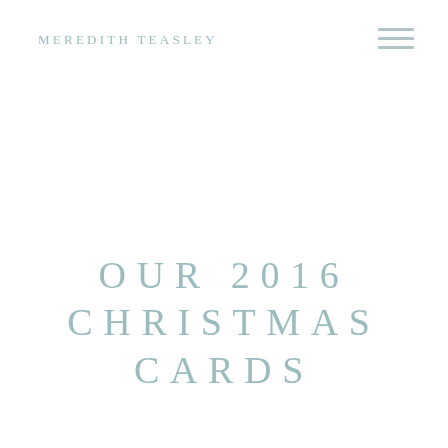MEREDITH TEASLEY
OUR 2016 CHRISTMAS CARDS